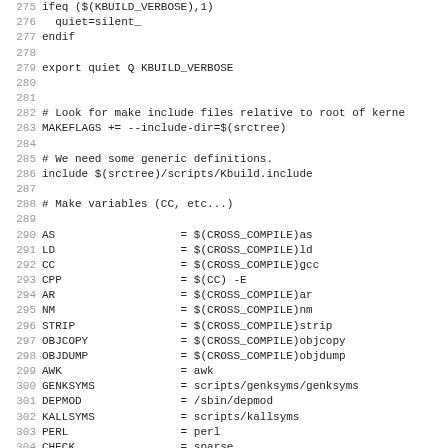Code listing lines 275-307 from a Linux kernel Makefile